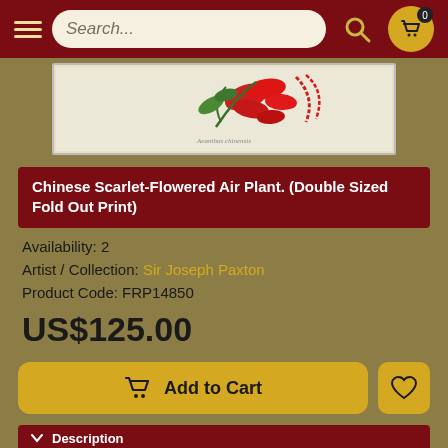[Figure (screenshot): Navigation bar with hamburger menu, search box, and cart icon with badge showing 0]
[Figure (illustration): Chinese Scarlet-Flowered Air Plant botanical illustration showing red flowers and green leaves on cream background]
Chinese Scarlet-Flowered Air Plant. (Double Sized Fold Out Print)
Availability: 2
Artist / Collection: Sir Joseph Paxton
Product Code: FRP14850
US$125.00
Add to Cart
Description
31 x 22.5 cm (12 x 9.5 inches).